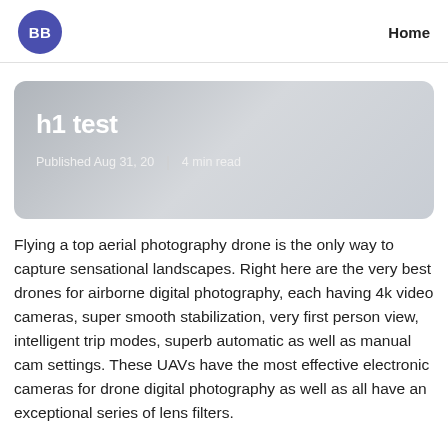[Figure (logo): Purple circle with white letters BB (blog/brand logo)]
Home
h1 test
Published Aug 31, 20  |  4 min read
Flying a top aerial photography drone is the only way to capture sensational landscapes. Right here are the very best drones for airborne digital photography, each having 4k video cameras, super smooth stabilization, very first person view, intelligent trip modes, superb automatic as well as manual cam settings. These UAVs have the most effective electronic cameras for drone digital photography as well as all have an exceptional series of lens filters.